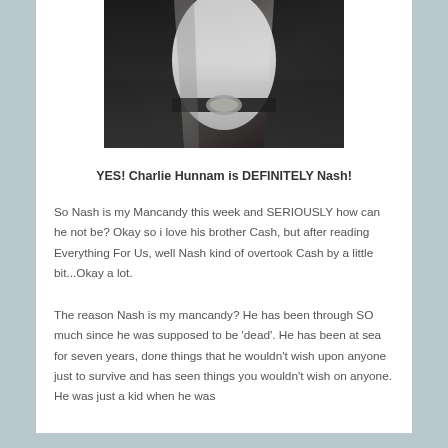[Figure (photo): Photo of a tattooed man in a white t-shirt, black jacket, and jeans with a large belt buckle, cropped at torso level]
YES! Charlie Hunnam is DEFINITELY Nash!
So Nash is my Mancandy this week and SERIOUSLY how can he not be? Okay so i love his brother Cash, but after reading Everything For Us, well Nash kind of overtook Cash by a little bit...Okay a lot.
The reason Nash is my mancandy? He has been through SO much since he was supposed to be 'dead'. He has been at sea for seven years, done things that he wouldn't wish upon anyone just to survive and has seen things you wouldn't wish on anyone. He was just a kid when he was